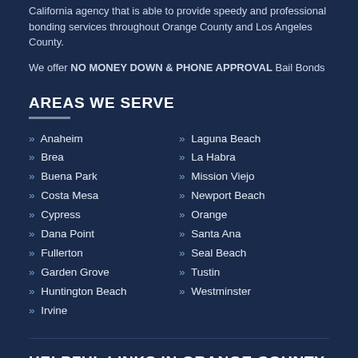California agency that is able to provide speedy and professional bonding services throughout Orange County and Los Angeles County.
We offer NO MONEY DOWN & PHONE APPROVAL Bail Bonds
AREAS WE SERVE
» Anaheim
» Brea
» Buena Park
» Costa Mesa
» Cypress
» Dana Point
» Fullerton
» Garden Grove
» Huntington Beach
» Irvine
» Laguna Beach
» La Habra
» Mission Viejo
» Newport Beach
» Orange
» Santa Ana
» Seal Beach
» Tustin
» Westminster
HELPFUL LINKS IN ORANGE COUNTY